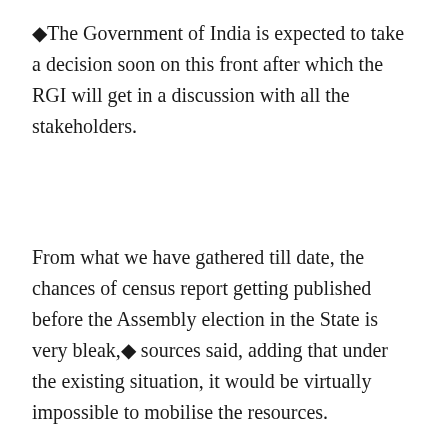◆The Government of India is expected to take a decision soon on this front after which the RGI will get in a discussion with all the stakeholders.
From what we have gathered till date, the chances of census report getting published before the Assembly election in the State is very bleak,◆ sources said, adding that under the existing situation, it would be virtually impossible to mobilise the resources.
The census is being conducted under the Census Act 1948 and Census Rules 1990. The exercise is done in two ...